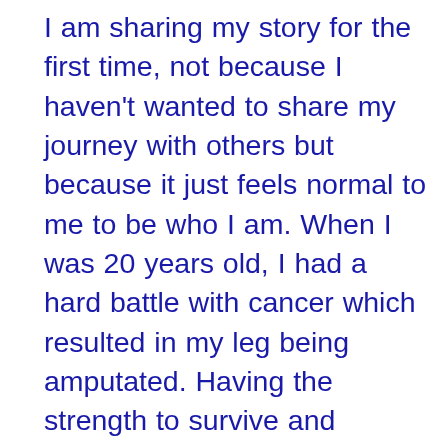I am sharing my story for the first time, not because I haven't wanted to share my journey with others but because it just feels normal to me to be who I am. When I was 20 years old, I had a hard battle with cancer which resulted in my leg being amputated. Having the strength to survive and learning to walk again gave me the courage to live my truth. I had dated men before and had even been engaged, but when you are dealing with life and death issues, you have to dig deep, and that is when I realized that I was bisexual. I am lucky enough to be blessed with a strong core group of women